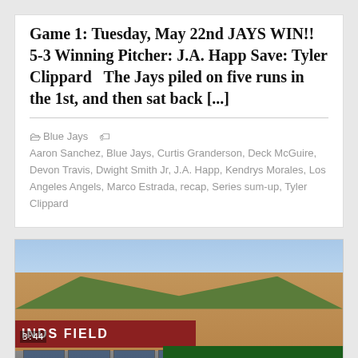Game 1: Tuesday, May 22nd JAYS WIN!! 5-3 Winning Pitcher: J.A. Happ Save: Tyler Clippard   The Jays piled on five runs in the 1st, and then sat back [...]
Blue Jays   Aaron Sanchez, Blue Jays, Curtis Granderson, Deck McGuire, Devon Travis, Dwight Smith Jr, J.A. Happ, Kendrys Morales, Los Angeles Angels, Marco Estrada, recap, Series sum-up, Tyler Clippard
[Figure (photo): Exterior photograph of a baseball stadium building showing brick facade, green roof, a red sign reading 'INDS FIELD', windows, and a green Forge banner in the lower right. Timestamp 3:44 visible in lower left.]